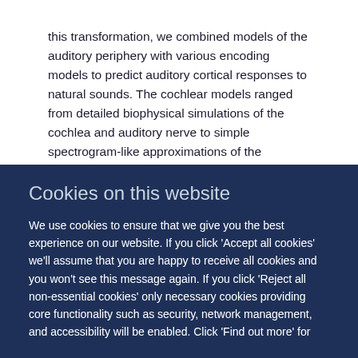this transformation, we combined models of the auditory periphery with various encoding models to predict auditory cortical responses to natural sounds. The cochlear models ranged from detailed biophysical simulations of the cochlea and auditory nerve to simple spectrogram-like approximations of the information processing in these structures. For three different stimulus sets, we tested the capacity of these models to predict the time course of single-unit neural responses recorded in ferret primary auditory cortex. We found that
Cookies on this website
We use cookies to ensure that we give you the best experience on our website. If you click 'Accept all cookies' we'll assume that you are happy to receive all cookies and you won't see this message again. If you click 'Reject all non-essential cookies' only necessary cookies providing core functionality such as security, network management, and accessibility will be enabled. Click 'Find out more' for